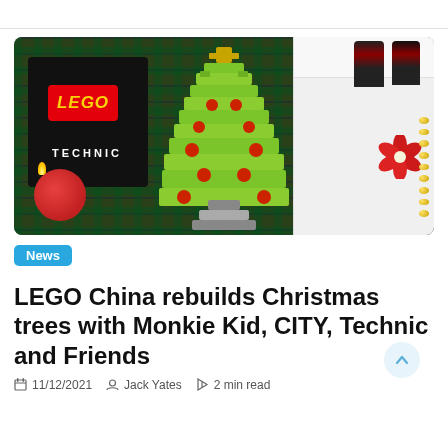[Figure (photo): LEGO Technic Christmas tree made of lime green LEGO pieces, displayed in a holiday setting with a LEGO Technic box, red candle, white gift box with nutcracker figurines and poinsettia decoration on a tartan plaid background]
News
LEGO China rebuilds Christmas trees with Monkie Kid, CITY, Technic and Friends
11/12/2021  Jack Yates  2 min read